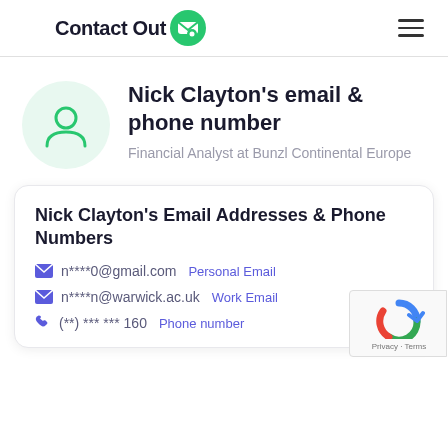ContactOut
Nick Clayton's email & phone number
Financial Analyst at Bunzl Continental Europe
Nick Clayton's Email Addresses & Phone Numbers
n****0@gmail.com  Personal Email
n****n@warwick.ac.uk  Work Email
(**) *** *** 160  Phone number